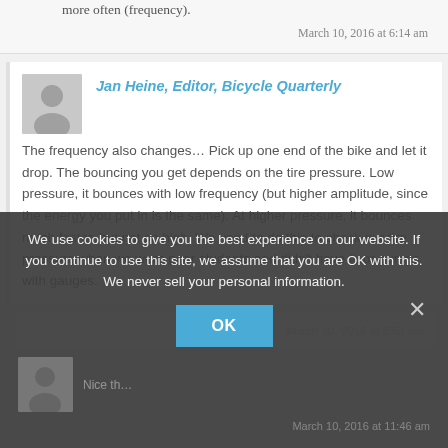more often (frequency).
March 10, 2016 at 6:14 am
Jan Heine, Editor, Bicycle Quarterly
The frequency also changes… Pick up one end of the bike and let it drop. The bouncing you get depends on the tire pressure. Low pressure, it bounces with low frequency (but higher amplitude, since the energy you put in is the same). At higher pressure, it bounces much faster, but not so high. We used to do this to check our tire pressure when we were poor students and didn't have floor pumps with gauges.
March 10, 2016 at 5:51 am
We use cookies to give you the best experience on our website. If you continue to use this site, we assume that you are OK with this. We never sell your personal information.
OK
Nice th…
March 10, 2016 at 11:46 am